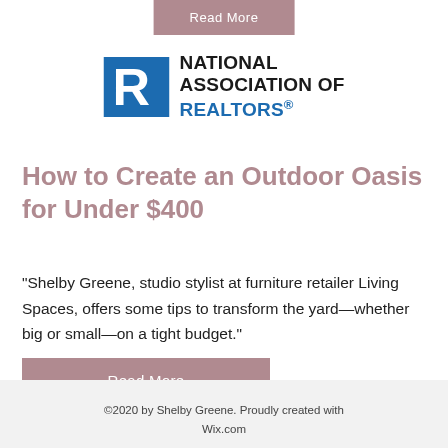Read More
[Figure (logo): National Association of Realtors logo: blue square with white R, beside bold text NATIONAL ASSOCIATION OF REALTORS®]
How to Create an Outdoor Oasis for Under $400
"Shelby Greene, studio stylist at furniture retailer Living Spaces, offers some tips to transform the yard—whether big or small—on a tight budget."
Read More
©2020 by Shelby Greene. Proudly created with Wix.com